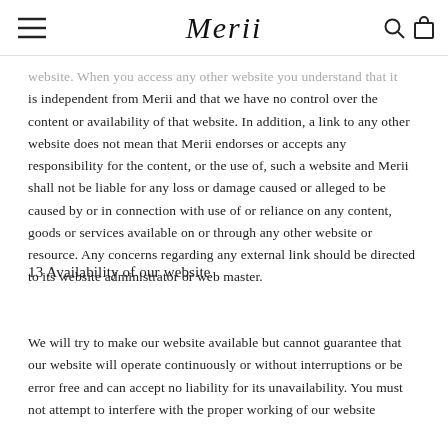Merii
website. When you access any other website you understand that it is independent from Merii and that we have no control over the content or availability of that website. In addition, a link to any other website does not mean that Merii endorses or accepts any responsibility for the content, or the use of, such a website and Merii shall not be liable for any loss or damage caused or alleged to be caused by or in connection with use of or reliance on any content, goods or services available on or through any other website or resource. Any concerns regarding any external link should be directed to its website administrator or web master.
13 Availability of our website
We will try to make our website available but cannot guarantee that our website will operate continuously or without interruptions or be error free and can accept no liability for its unavailability. You must not attempt to interfere with the proper working of our website and in particular...